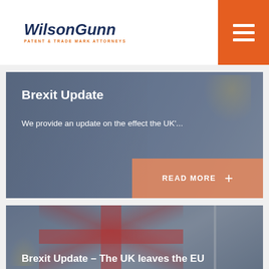WilsonGunn PATENT & TRADE MARK ATTORNEYS
[Figure (photo): Brexit Update article card with EU flag background, showing title 'Brexit Update', excerpt text, and READ MORE button]
Brexit Update
We provide an update on the effect the UK'...
READ MORE +
[Figure (photo): Brexit Update - The UK leaves the EU article card with Union Jack flag background]
Brexit Update – The UK leaves the EU